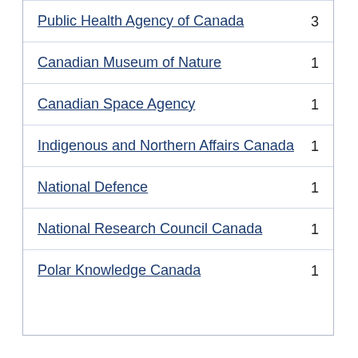Public Health Agency of Canada  3
Canadian Museum of Nature  1
Canadian Space Agency  1
Indigenous and Northern Affairs Canada  1
National Defence  1
National Research Council Canada  1
Polar Knowledge Canada  1